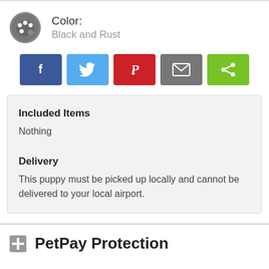Color: Black and Rust
[Figure (infographic): Row of five social share buttons: Facebook (blue), Twitter (light blue), Pinterest (red), Email (gray), Share (green)]
Included Items
Nothing
Delivery
This puppy must be picked up locally and cannot be delivered to your local airport.
PetPay Protection